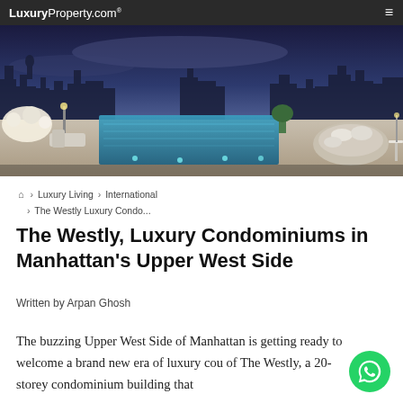LuxuryProperty.com
[Figure (photo): Rooftop infinity pool with city skyline view at dusk, lounge chairs and outdoor furniture visible]
⌂ > Luxury Living > International > The Westly Luxury Condo...
The Westly, Luxury Condominiums in Manhattan's Upper West Side
Written by Arpan Ghosh
The buzzing Upper West Side of Manhattan is getting ready to welcome a brand new era of luxury cou of The Westly, a 20-storey condominium building that